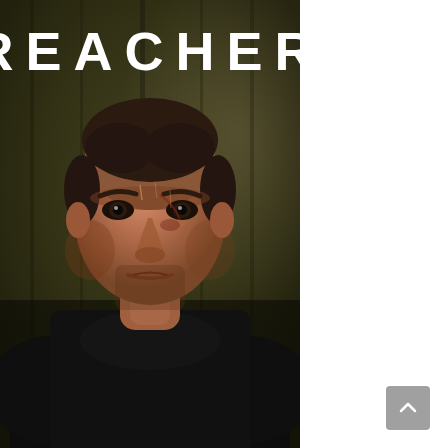[Figure (photo): Movie/TV show poster for 'REACHER'. A large muscular man in a black t-shirt with a bruised, intense face stares at the camera. The background is dark olive/green with a moody, dramatic atmosphere. The title 'REACHER' appears in bold white block letters at the top of the poster.]